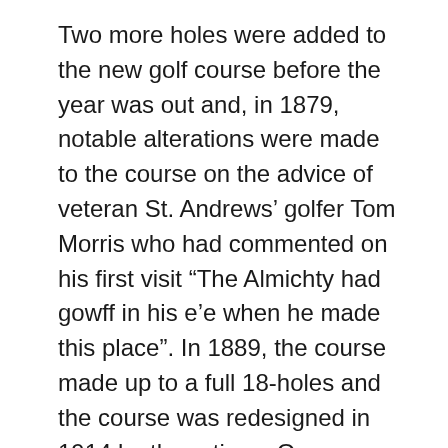Two more holes were added to the new golf course before the year was out and, in 1879, notable alterations were made to the course on the advice of veteran St. Andrews' golfer Tom Morris who had commented on his first visit “The Almichty had gowff in his e’e when he made this place”. In 1889, the course made up to a full 18-holes and the course was redesigned in 1914 by three-times Open Championship winner J. H. Taylor and again, thirty years later, after World War II, by Sir Guy Campbell to give us the course layout of today. Work on the new railway commenced, at Trodigal and elsewhere along the route of the line, on Monday, July 24, 1876. The schooner “W.M.J.” under the command of Captain Lloyd, arrived from Briton Ferry, in Wales, with 21foot lengths of rails on Tuesday, August 15, 1876. Three weeks later, on Saturday,